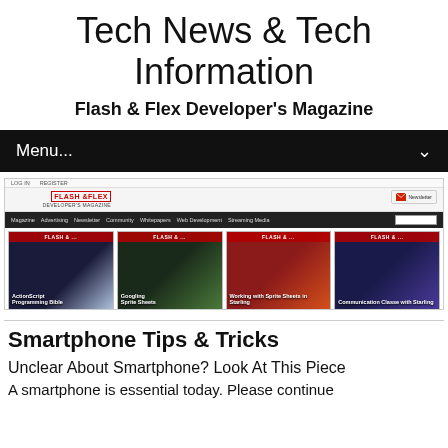Tech News & Tech Information
Flash & Flex Developer's Magazine
Menu...
[Figure (screenshot): Screenshot of the Flash & Flex Developer's Magazine website showing navigation bar with Magazine, Advertising, Newsletter, Community, Whitepapers, Web Development, Streaming Media links, and four magazine covers: ActionScript Programming Bible, Googling Sprite Sheets, Working with Sprite Sheets in Starling, and Communication Classe with Starling]
Smartphone Tips & Tricks
Unclear About Smartphone? Look At This Piece
A smartphone is essential today. Please continue